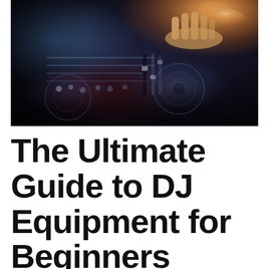[Figure (photo): Close-up photo of DJ equipment (mixer, turntables, knobs and faders) with a hand visible operating the deck in the upper right. Warm orange/teal lighting with dark background.]
The Ultimate Guide to DJ Equipment for Beginners